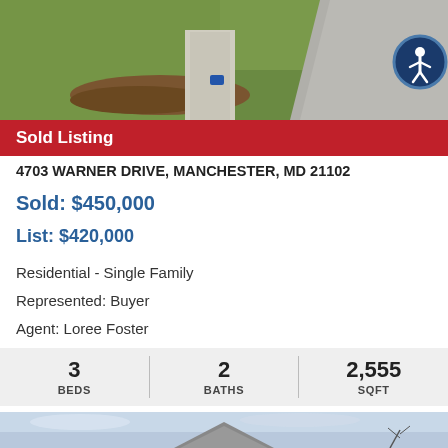[Figure (photo): Aerial/overhead photo of a residential property showing green lawn, a walkway, mulched garden bed, and driveway]
Sold Listing
4703 WARNER DRIVE, MANCHESTER, MD 21102
Sold: $450,000
List: $420,000
Residential - Single Family
Represented: Buyer
Agent: Loree Foster
| BEDS | BATHS | SQFT |
| --- | --- | --- |
| 3 | 2 | 2,555 |
[Figure (photo): Exterior photo of a house with light blue/grey sky background, showing roofline and part of the house facade]